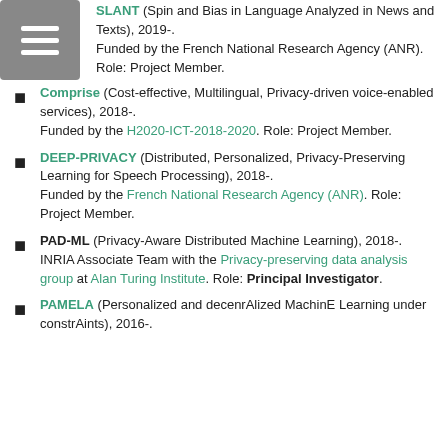SLANT (Spin and Bias in Language Analyzed in News and Texts), 2019-. Funded by the French National Research Agency (ANR). Role: Project Member.
Comprise (Cost-effective, Multilingual, Privacy-driven voice-enabled services), 2018-. Funded by the H2020-ICT-2018-2020. Role: Project Member.
DEEP-PRIVACY (Distributed, Personalized, Privacy-Preserving Learning for Speech Processing), 2018-. Funded by the French National Research Agency (ANR). Role: Project Member.
PAD-ML (Privacy-Aware Distributed Machine Learning), 2018-. INRIA Associate Team with the Privacy-preserving data analysis group at Alan Turing Institute. Role: Principal Investigator.
PAMELA (Personalized and decenrAalized MachinE Learning under constrAints), 2016-.